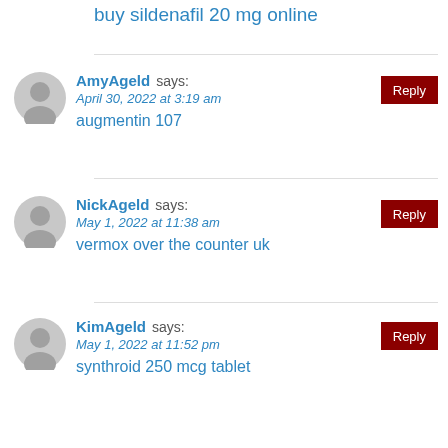buy sildenafil 20 mg online
AmyAgeld says:
April 30, 2022 at 3:19 am
augmentin 107
NickAgeld says:
May 1, 2022 at 11:38 am
vermox over the counter uk
KimAgeld says:
May 1, 2022 at 11:52 pm
synthroid 250 mcg tablet